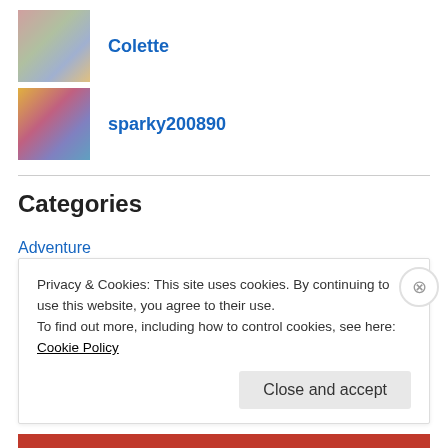[Figure (photo): Profile photo of Colette - woman with pink hair and glasses]
Colette
[Figure (photo): Profile photo of sparky200890 - colorful art/illustration image]
sparky200890
Categories
Adventure
Comedy
Drama
Editorial
Fantasy
Fiction
Privacy & Cookies: This site uses cookies. By continuing to use this website, you agree to their use.
To find out more, including how to control cookies, see here: Cookie Policy
Close and accept